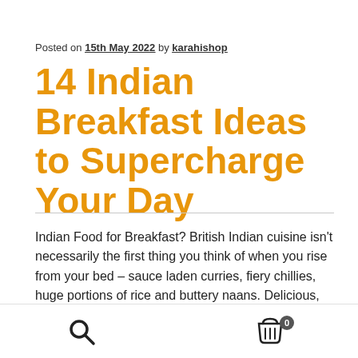Posted on 15th May 2022 by karahishop
14 Indian Breakfast Ideas to Supercharge Your Day
Indian Food for Breakfast? British Indian cuisine isn't necessarily the first thing you think of when you rise from your bed – sauce laden curries, fiery chillies, huge portions of rice and buttery naans. Delicious, but not always the sort of thing you reach for as soon as the alarm clock sounds. However, Indian cooking…
[Figure (other): Bottom toolbar with search icon on the left and a cart icon with badge showing 0 on the right]